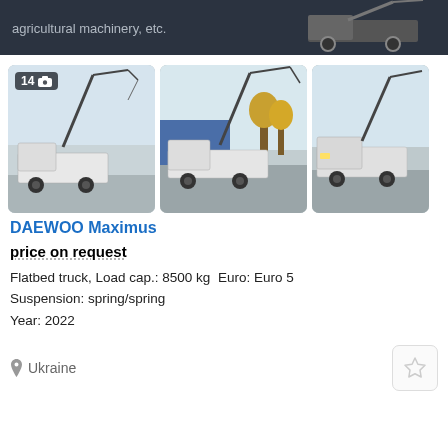[Figure (photo): Dark banner advertisement for agricultural machinery with a truck image on the right side. Text reads 'agricultural machinery, etc.']
[Figure (photo): Three photos of a DAEWOO Maximus flatbed truck with crane/boom arm extended upward. First photo has badge showing 14 photos. Photos show the truck from different angles in an industrial yard.]
DAEWOO Maximus
price on request
Flatbed truck, Load cap.: 8500 kg  Euro: Euro 5
Suspension: spring/spring
Year: 2022
Ukraine